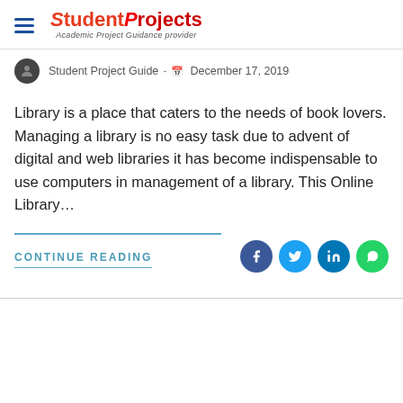Student Projects - Academic Project Guidance provider
Student Project Guide  -  December 17, 2019
Library is a place that caters to the needs of book lovers. Managing a library is no easy task due to advent of digital and web libraries it has become indispensable to use computers in management of a library. This Online Library…
CONTINUE READING